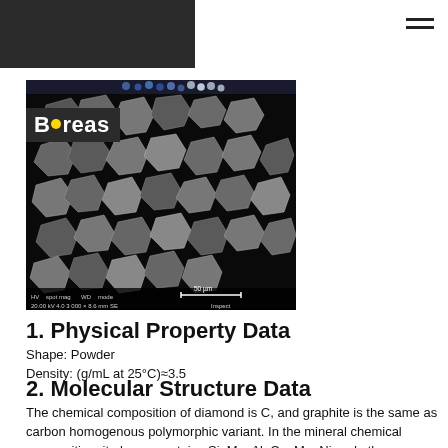Boreas
[Figure (photo): Scanning electron microscope (SEM) image of diamond/graphite powder particles at 3000x magnification, 20.00 kV HV, spot 4.0, WD 8.6 mm, SE mode, scale bar 50 µm, Inspect software]
1. Physical Property Data
Shape: Powder
Density: (g/mL at 25°C)≈3.5
2. Molecular Structure Data
The chemical composition of diamond is C, and graphite is the same as carbon homogenous polymorphic variant. In the mineral chemical composition, it always contains Si, Mg, Al, Ca, Mn, Ni and other elements, and often contains Na, B, Cu